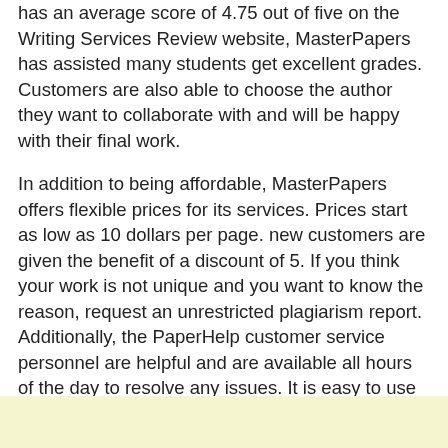has an average score of 4.75 out of five on the Writing Services Review website, MasterPapers has assisted many students get excellent grades. Customers are also able to choose the author they want to collaborate with and will be happy with their final work.
In addition to being affordable, MasterPapers offers flexible prices for its services. Prices start as low as 10 dollars per page. new customers are given the benefit of a discount of 5. If you think your work is not unique and you want to know the reason, request an unrestricted plagiarism report. Additionally, the PaperHelp customer service personnel are helpful and are available all hours of the day to resolve any issues. It is easy to use and has a price calculator that allows you to check prices prior to ordering.